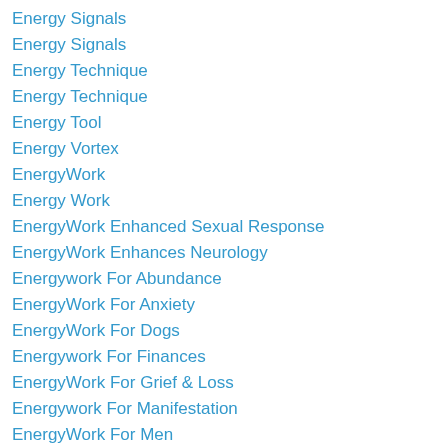Energy Signals
Energy Signals
Energy Technique
Energy Technique
Energy Tool
Energy Vortex
EnergyWork
Energy Work
EnergyWork Enhanced Sexual Response
EnergyWork Enhances Neurology
Energywork For Abundance
EnergyWork For Anxiety
EnergyWork For Dogs
Energywork For Finances
EnergyWork For Grief & Loss
Energywork For Manifestation
EnergyWork For Men
EnergyWork For Money Issues
EnergyWork For Self Care
EnergyWork For Stress
EnergyWork For The Ghost